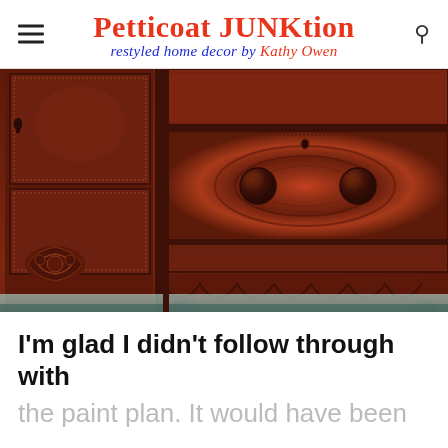Petticoat JUNKtion — restyled home decor by Kathy Owen
[Figure (photo): Close-up photo of an antique wooden dresser/sideboard with dark mahogany wood grain, decorative beaded trim around drawers, round wooden knobs, carved floral hardware on lower left door, and scalloped apron detail at the bottom.]
I'm glad I didn't follow through with the paint plan. It would have been